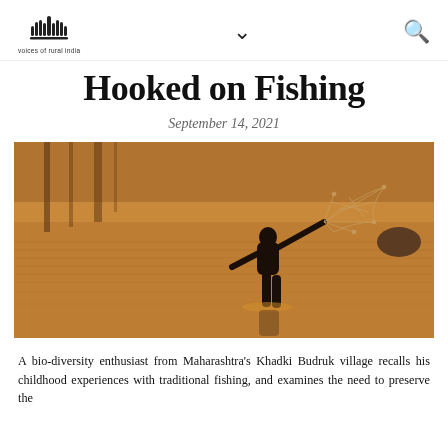voices of rural india
Hooked on Fishing
September 14, 2021
[Figure (photo): Silhouette of a person casting a fishing net in a river at golden hour, with calm water reflections in the background.]
A bio-diversity enthusiast from Maharashtra's Khadki Budruk village recalls his childhood experiences with traditional fishing, and examines the need to preserve the